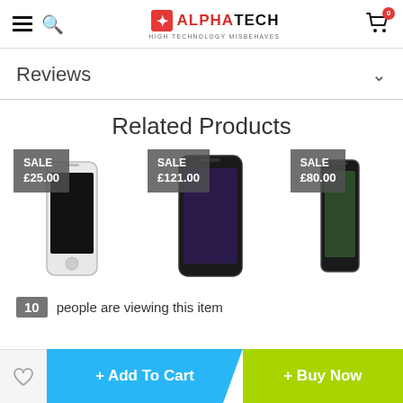[Figure (logo): Alpha Tech logo with red rocket icon and tagline HIGH TECHNOLOGY MISBEHAVES]
Reviews
Related Products
[Figure (illustration): Product card: SALE £25.00 badge with image of white iPhone 6]
[Figure (illustration): Product card: SALE £121.00 badge with image of black iPhone XR]
[Figure (illustration): Product card: SALE £80.00 badge with image of iPhone XS]
10 people are viewing this item
+ Add To Cart
+ Buy Now